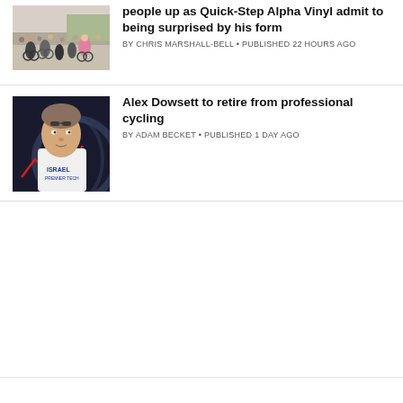[Figure (photo): Cyclists racing in a road cycling event, crowd visible on the side]
people up as Quick-Step Alpha Vinyl admit to being surprised by his form
BY CHRIS MARSHALL-BELL • PUBLISHED 22 HOURS AGO
[Figure (photo): Alex Dowsett in Israel cycling team jersey, portrait shot against dark background with graphic overlay]
Alex Dowsett to retire from professional cycling
BY ADAM BECKET • PUBLISHED 1 DAY AGO